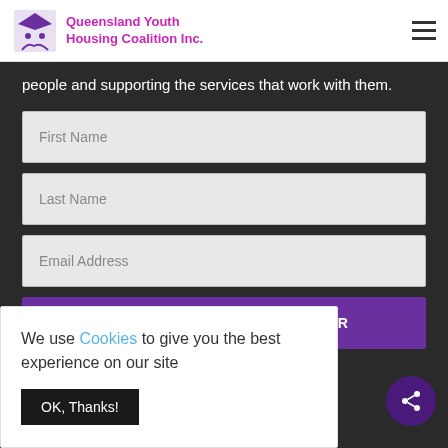Queensland Youth Housing Coalition Inc.
people and supporting the services that work with them.
First Name
Last Name
Email Address
SUBSCRIBE TO NEWSLETTER
We use Cookies to give you the best experience on our site
OK, Thanks!